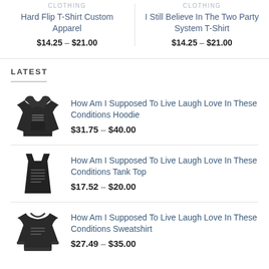CLOTHING
Hard Flip T-Shirt Custom Apparel
$14.25 – $21.00
CLOTHING
I Still Believe In The Two Party System T-Shirt
$14.25 – $21.00
LATEST
[Figure (photo): Dark hoodie product thumbnail]
How Am I Supposed To Live Laugh Love In These Conditions Hoodie
$31.75 – $40.00
[Figure (photo): Dark tank top product thumbnail]
How Am I Supposed To Live Laugh Love In These Conditions Tank Top
$17.52 – $20.00
[Figure (photo): Dark sweatshirt product thumbnail]
How Am I Supposed To Live Laugh Love In These Conditions Sweatshirt
$27.49 – $35.00